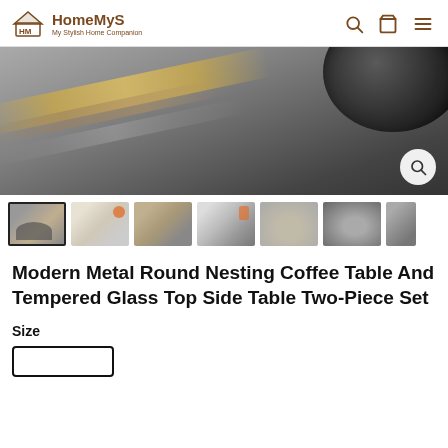HomeMyS — My Stylish Home Companion
[Figure (photo): Close-up photo of a dark black round coffee table top on a textured grey and gold carpet]
[Figure (photo): Thumbnail strip showing 7 product photos of the Modern Metal Round Nesting Coffee Table set in various room settings and angles]
Modern Metal Round Nesting Coffee Table And Tempered Glass Top Side Table Two-Piece Set
Size
(Size selection button)